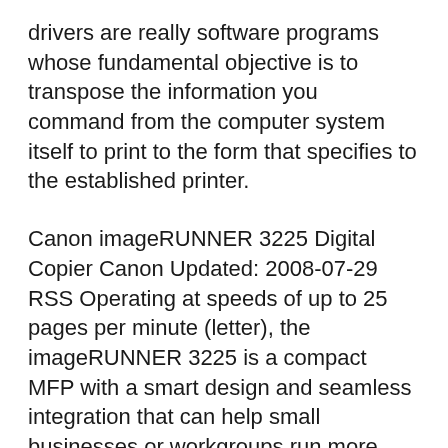drivers are really software programs whose fundamental objective is to transpose the information you command from the computer system itself to print to the form that specifies to the established printer.
Canon imageRUNNER 3225 Digital Copier Canon Updated: 2008-07-29 RSS Operating at speeds of up to 25 pages per minute (letter), the imageRUNNER 3225 is a compact MFP with a smart design and seamless integration that can help small businesses or workgroups run more efficiently. Hier findest du die Bedienungsanleitung/Handbuch des Sony Canon iR 3225 als PDF Datei auf